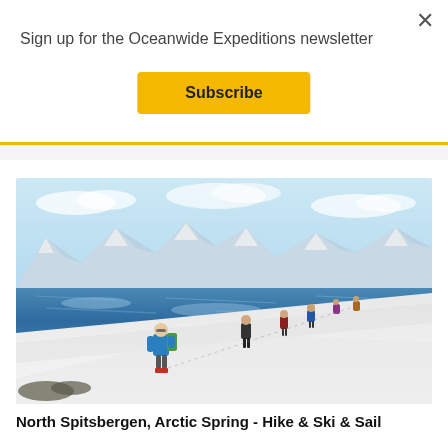Sign up for the Oceanwide Expeditions newsletter
Subscribe
[Figure (photo): People hiking up a snow-covered slope with a reflective blue fjord and snow-capped mountains in the background, Arctic landscape.]
North Spitsbergen, Arctic Spring - Hike & Ski & Sail